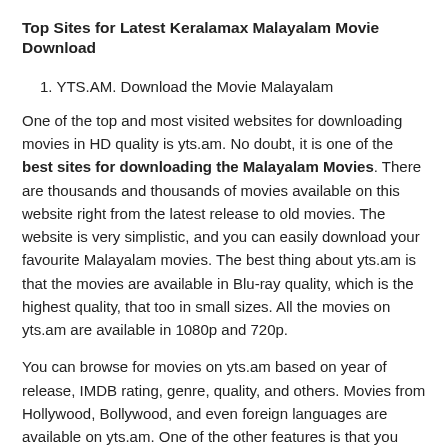Top Sites for Latest Keralamax Malayalam Movie Download
1. YTS.AM. Download the Movie Malayalam
One of the top and most visited websites for downloading movies in HD quality is yts.am. No doubt, it is one of the best sites for downloading the Malayalam Movies. There are thousands and thousands of movies available on this website right from the latest release to old movies. The website is very simplistic, and you can easily download your favourite Malayalam movies. The best thing about yts.am is that the movies are available in Blu-ray quality, which is the highest quality, that too in small sizes. All the movies on yts.am are available in 1080p and 720p.
You can browse for movies on yts.am based on year of release, IMDB rating, genre, quality, and others. Movies from Hollywood, Bollywood, and even foreign languages are available on yts.am. One of the other features is that you can download 3D movies from yts.am.
2. Moviescouch.biz